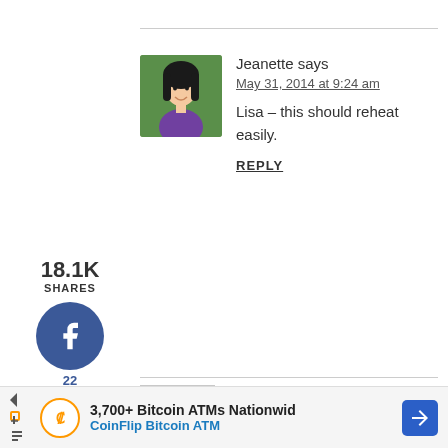Jeanette says
May 31, 2014 at 9:24 am
Lisa – this should reheat easily.
REPLY
[Figure (infographic): Social share widget with Facebook (22), Twitter, Pinterest (18.1K), and Yum buttons, total 18.1K SHARES]
Kaye says
May 24, 2016 at 7:36 am
★★★★★
3,700+ Bitcoin ATMs Nationwid CoinFlip Bitcoin ATM